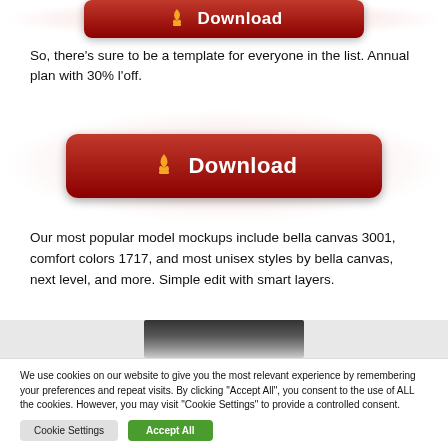[Figure (other): Partial red Download button visible at top of page, cropped]
So, there’s sure to be a template for everyone in the list. Annual plan with 30% l’off.
[Figure (other): Red Download button with orange arrow icon, centered on page with red radial glow background]
Our most popular model mockups include bella canvas 3001, comfort colors 1717, and most unisex styles by bella canvas, next level, and more. Simple edit with smart layers.
[Figure (photo): Partial photo strip showing top of a person's head with dark hair, grey background]
We use cookies on our website to give you the most relevant experience by remembering your preferences and repeat visits. By clicking “Accept All”, you consent to the use of ALL the cookies. However, you may visit "Cookie Settings" to provide a controlled consent.